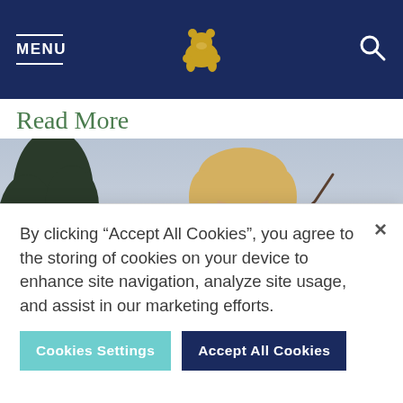MENU [golden bear logo] [search icon]
Read More
[Figure (photo): A smiling blond man photographed outdoors, holding something; dark tree silhouette visible on the left, overcast sky in background.]
By clicking "Accept All Cookies", you agree to the storing of cookies on your device to enhance site navigation, analyze site usage, and assist in our marketing efforts.